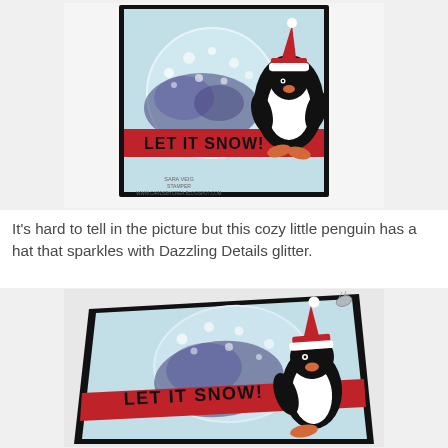[Figure (photo): A handmade Christmas card featuring a light blue background with a circular snow globe window filled with purple-blue snowflakes, a penguin wearing a red Santa hat standing to the right, and a red banner reading LET IT SNOW! across the middle. The card has a black border.]
It's hard to tell in the picture but this cozy little penguin has a hat that sparkles with Dazzling Details glitter.
[Figure (photo): An angled close-up photo of the same handmade Christmas card, showing the light blue textured card with a circular snow globe window, red LET IT SNOW! banner, and a penguin with a red Santa hat. A small silver charm is visible at the top. The card has a black border and is photographed from an angle.]